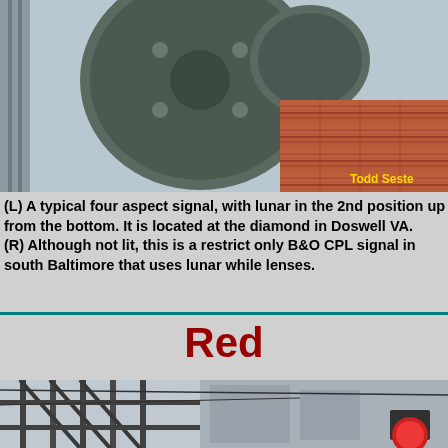[Figure (photo): Close-up photograph of a large railroad signal head (dark green/bronze colored equipment) mounted on a metal frame, with a red brick wall in the background. Photo credit to Todd Seste (partially visible).]
(L) A typical four aspect signal, with lunar in the 2nd position up from the bottom.  It is located at the diamond in Doswell VA.
(R) Although not lit, this is a restrict only B&O CPL signal in south Baltimore that uses lunar while lenses.
Red
[Figure (photo): Photograph of railroad signal infrastructure including metal framework/bridge structure and what appears to be a red signal lens visible at the bottom right, taken in an urban rail setting.]